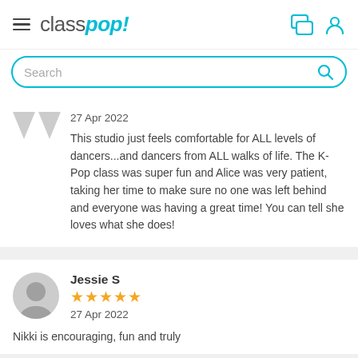[Figure (logo): classpop! logo with hamburger menu and header icons]
[Figure (screenshot): Search bar with teal border and magnifying glass icon]
27 Apr 2022
This studio just feels comfortable for ALL levels of dancers...and dancers from ALL walks of life. The K-Pop class was super fun and Alice was very patient, taking her time to make sure no one was left behind and everyone was having a great time! You can tell she loves what she does!
Jessie S
★★★★★
27 Apr 2022
Nikki is encouraging, fun and truly